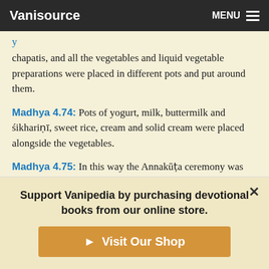Vanisource   MENU
chapatis, and all the vegetables and liquid vegetable preparations were placed in different pots and put around them.
Madhya 4.74: Pots of yogurt, milk, buttermilk and śikhariṇī, sweet rice, cream and solid cream were placed alongside the vegetables.
Madhya 4.75: In this way the Annakūṭa ceremony was performed, and Mādhavendra Purī Gosvāmī personally offered everything to Gopāla.
Madhya 4.76: Many waterpots were filled with scented water for drinking, and Lord Śrī Gopāla, who had been hungry for
Support Vanipedia by purchasing devotional books from our online store.
Visit Our Shop